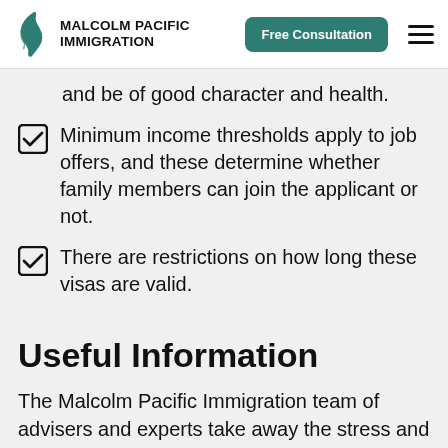Malcolm Pacific Immigration | Free Consultation
and be of good character and health.
Minimum income thresholds apply to job offers, and these determine whether family members can join the applicant or not.
There are restrictions on how long these visas are valid.
Useful Information
The Malcolm Pacific Immigration team of advisers and experts take away the stress and worry of navigating the complex world of New Zealand immigration policies and immigration...